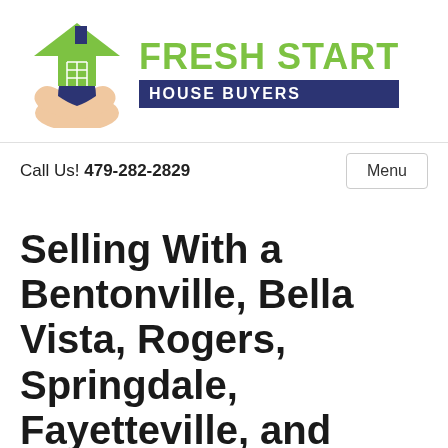[Figure (logo): Fresh Start House Buyers logo: green house icon with white diamond pattern, dark blue leaf/book shape, peach hands holding from below, with green 'FRESH START' text and dark blue 'HOUSE BUYERS' banner]
Call Us! 479-282-2829
Menu
Selling With a Bentonville, Bella Vista, Rogers, Springdale, Fayetteville, and Greater Northwest Arkansas